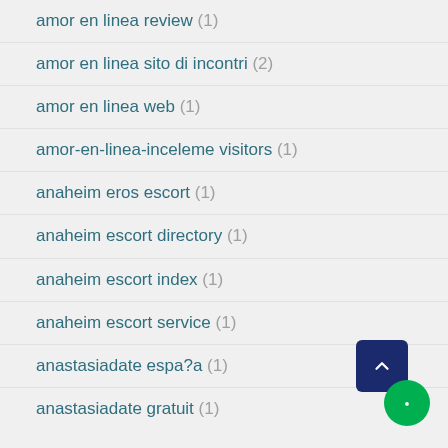amor en linea review (1)
amor en linea sito di incontri (2)
amor en linea web (1)
amor-en-linea-inceleme visitors (1)
anaheim eros escort (1)
anaheim escort directory (1)
anaheim escort index (1)
anaheim escort service (1)
anastasiadate espa?a (1)
anastasiadate gratuit (1)